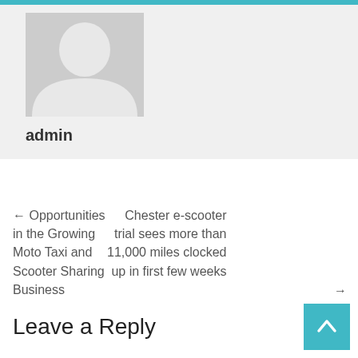[Figure (illustration): User profile avatar: gray silhouette of a person on a light gray background with a teal top bar]
admin
← Opportunities in the Growing Moto Taxi and Scooter Sharing Business
Chester e-scooter trial sees more than 11,000 miles clocked up in first few weeks →
Leave a Reply